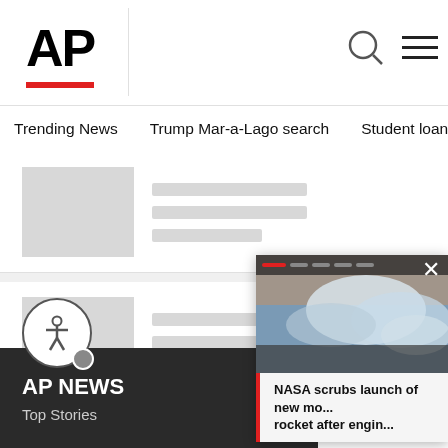[Figure (logo): AP News logo with bold AP text and red underline]
Trending News  Trump Mar-a-Lago search  Student loans  U.S.
[Figure (screenshot): Three article cards with placeholder thumbnail images and gray content lines]
[Figure (screenshot): Video popup overlay showing NASA scrubs launch story with sky image]
NASA scrubs launch of new mo... rocket after engin...
AP NEWS
Top Stories